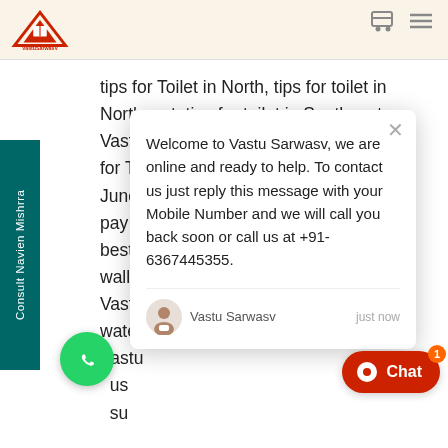VastuSarwasV logo and navigation icons
tips for Toilet in North, tips for toilet in Northeast, tips for toilet in Southeast, Vastu did for Northeastern late, Basotiya for Toilet in North, Vastu buy and Hindi, Junction !, Vastu paid for money, Vastu pay for home bask best wallp Vastu wate Vastu us su iness house workshop, Vastu workshop, ity Vastu, Trinity Vaastuvats Rob ew balance, Vastu XL, Vastu YouT Vastu pyramid, Vastu yellow flowers, Vastu
[Figure (screenshot): Chat popup from Vastu Sarwasv website with welcome message and contact details. Message reads: Welcome to Vastu Sarwasv, we are online and ready to help. To contact us just reply this message with your Mobile Number and we will call you back soon or call us at +91-6367445355. Sender: Vastu Sarwasv, just now.]
[Figure (logo): WhatsApp green circular button with phone icon]
[Figure (screenshot): Red Chat button with bubble icon and badge showing 1]